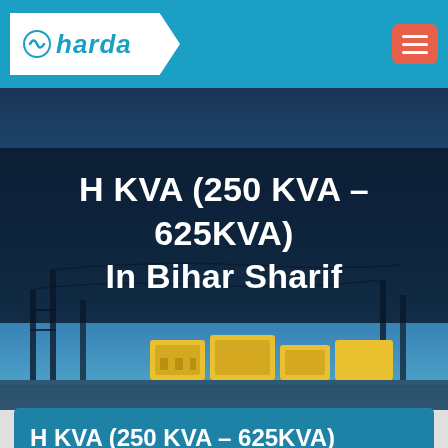harda
H KVA (250 KVA – 625KVA)
In Bihar Sharif
H KVA (250 KVA – 625KVA) Suppliers in Bihar Sharif
[Figure (photo): Transformer/industrial equipment product image in orange/red color at bottom of page]
[Figure (illustration): WhatsApp floating contact button (green circle with WhatsApp icon)]
[Figure (illustration): Email floating contact button (orange-red circle with envelope icon)]